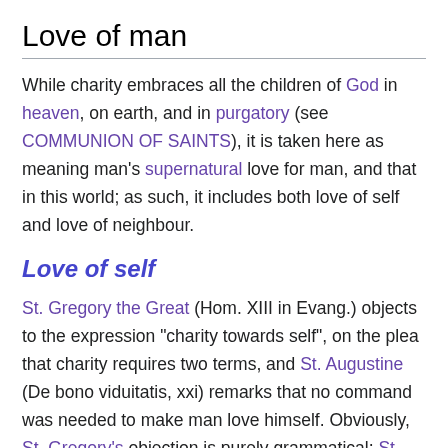Love of man
While charity embraces all the children of God in heaven, on earth, and in purgatory (see COMMUNION OF SAINTS), it is taken here as meaning man's supernatural love for man, and that in this world; as such, it includes both love of self and love of neighbour.
Love of self
St. Gregory the Great (Hom. XIII in Evang.) objects to the expression "charity towards self", on the plea that charity requires two terms, and St. Augustine (De bono viduitatis, xxi) remarks that no command was needed to make man love himself. Obviously, St. Gregory's objection is purely grammatical; St. Augustine's remark applies to natural self-love. As a matter of fact, the precept of supernatural love of self is not only possible or needed, but also